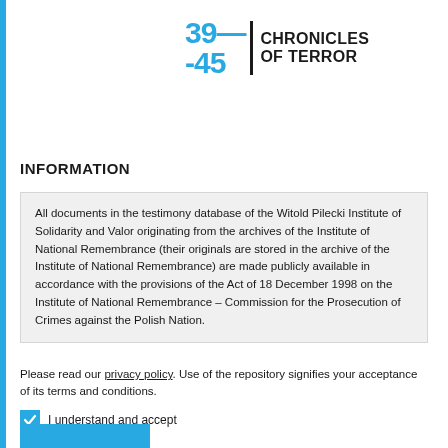[Figure (logo): 39-45 Chronicles of Terror logo with blue numbers and black bold text]
INFORMATION
All documents in the testimony database of the Witold Pilecki Institute of Solidarity and Valor originating from the archives of the Institute of National Remembrance (their originals are stored in the archive of the Institute of National Remembrance) are made publicly available in accordance with the provisions of the Act of 18 December 1998 on the Institute of National Remembrance – Commission for the Prosecution of Crimes against the Polish Nation.
Please read our privacy policy. Use of the repository signifies your acceptance of its terms and conditions.
I understand and accept